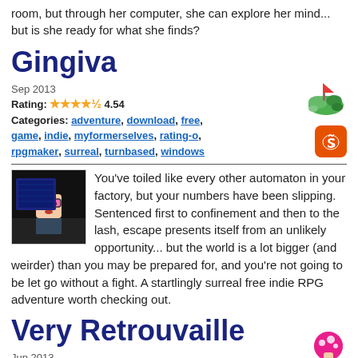room, but through her computer, she can explore her mind... but is she ready for what she finds?
Gingiva
Sep 2013
Rating: 4.54
Categories: adventure, download, free, game, indie, myformerselves, rating-o, rpgmaker, surreal, turnbased, windows
You've toiled like every other automaton in your factory, but your numbers have been slipping. Sentenced first to confinement and then to the lash, escape presents itself from an unlikely opportunity... but the world is a lot bigger (and weirder) than you may be prepared for, and you're not going to be let go without a fight. A startlingly surreal free indie RPG adventure worth checking out.
Very Retrouvaille
Jun 2013